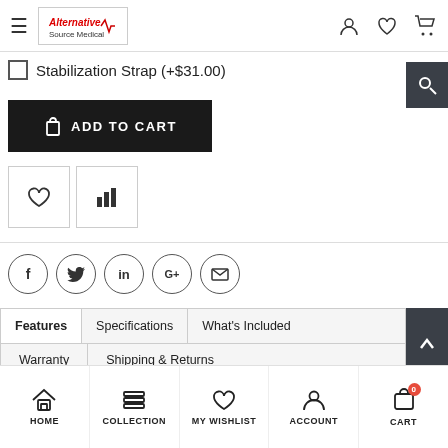Alternative Source Medical - header navigation
Stabilization Strap (+$31.00)
ADD TO CART
[Figure (screenshot): Wishlist heart icon button and Compare bar-chart icon button]
[Figure (screenshot): Social share icons: Facebook, Twitter, LinkedIn, Google+, Email]
[Figure (screenshot): Product page tabs: Features, Specifications, What's Included, Warranty, Shipping & Returns]
HOME  COLLECTION  MY WISHLIST  ACCOUNT  CART